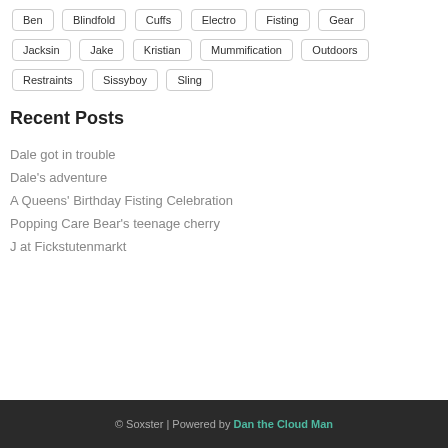Ben
Blindfold
Cuffs
Electro
Fisting
Gear
Jacksin
Jake
Kristian
Mummification
Outdoors
Restraints
Sissyboy
Sling
Recent Posts
Dale got in trouble
Dale's adventure
A Queens' Birthday Fisting Celebration
Popping Care Bear's teenage cherry
J at Fickstutenmarkt
© Soxster | Powered by Dan the Cloud Man